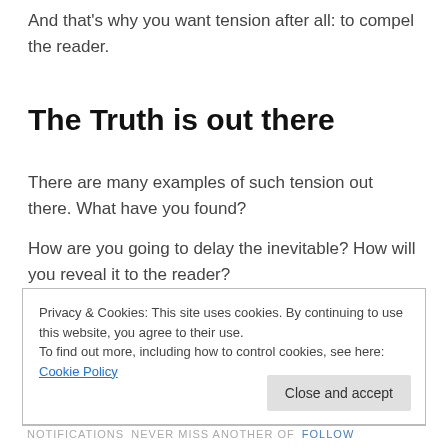And that's why you want tension after all: to compel the reader.
The Truth is out there
There are many examples of such tension out there. What have you found?
How are you going to delay the inevitable? How will you reveal it to the reader?
Privacy & Cookies: This site uses cookies. By continuing to use this website, you agree to their use.
To find out more, including how to control cookies, see here: Cookie Policy